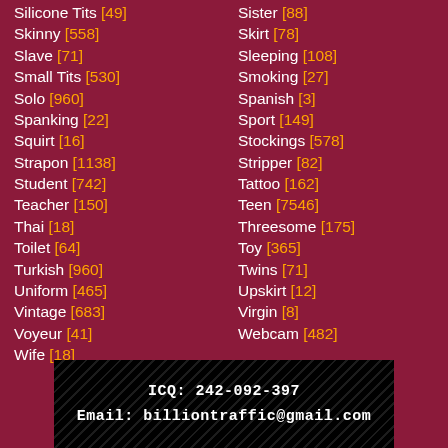Silicone Tits [49]
Skinny [558]
Slave [71]
Small Tits [530]
Solo [960]
Spanking [22]
Squirt [16]
Strapon [1138]
Student [742]
Teacher [150]
Thai [18]
Toilet [64]
Turkish [960]
Uniform [465]
Vintage [683]
Voyeur [41]
Wife [18]
Sister [88]
Skirt [78]
Sleeping [108]
Smoking [27]
Spanish [3]
Sport [149]
Stockings [578]
Stripper [82]
Tattoo [162]
Teen [7546]
Threesome [175]
Toy [365]
Twins [71]
Upskirt [12]
Virgin [8]
Webcam [482]
ICQ: 242-092-397
Email: billiontraffic@gmail.com